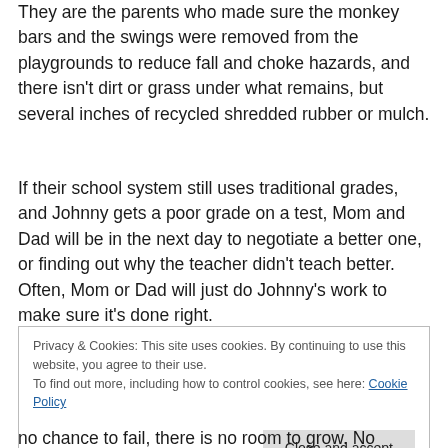They are the parents who made sure the monkey bars and the swings were removed from the playgrounds to reduce fall and choke hazards, and there isn't dirt or grass under what remains, but several inches of recycled shredded rubber or mulch.
If their school system still uses traditional grades, and Johnny gets a poor grade on a test, Mom and Dad will be in the next day to negotiate a better one, or finding out why the teacher didn't teach better.  Often, Mom or Dad will just do Johnny's work to make sure it's done right.
Privacy & Cookies: This site uses cookies. By continuing to use this website, you agree to their use.
To find out more, including how to control cookies, see here: Cookie Policy
no chance to fail, there is no room to grow. No internal